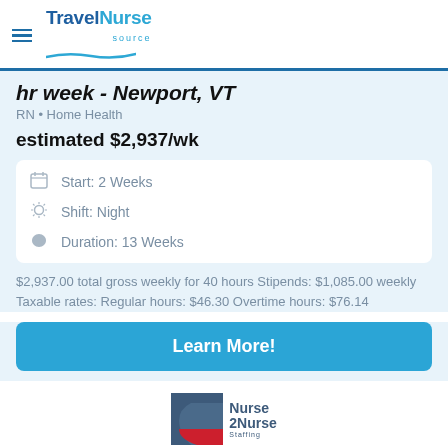TravelNurse source
hr week - Newport, VT
RN • Home Health
estimated $2,937/wk
Start: 2 Weeks
Shift: Night
Duration: 13 Weeks
$2,937.00 total gross weekly for 40 hours Stipends: $1,085.00 weekly Taxable rates: Regular hours: $46.30 Overtime hours: $76.14
Learn More!
[Figure (logo): Nurse 2 Nurse Staffing logo with blue and red square graphic]